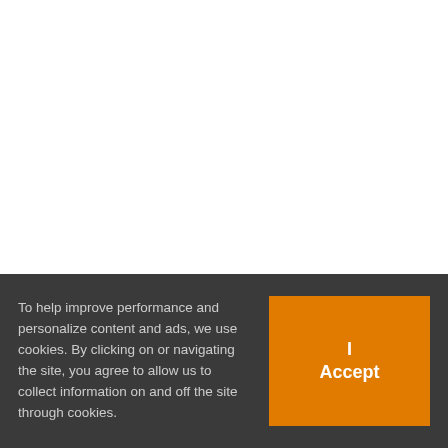2 Comments
John Peltier  December 24, 2013 at 2:44 pm
[Figure (photo): Avatar photo of John Peltier, a man with glasses and beard]
To help improve performance and personalize content and ads, we use cookies. By clicking on or navigating the site, you agree to allow us to collect information on and off the site through cookies.
I Accept